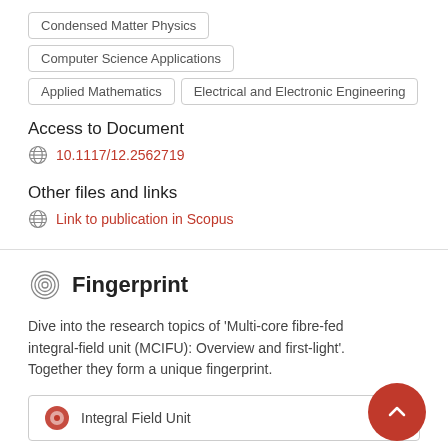Condensed Matter Physics
Computer Science Applications
Applied Mathematics
Electrical and Electronic Engineering
Access to Document
10.1117/12.2562719
Other files and links
Link to publication in Scopus
Fingerprint
Dive into the research topics of 'Multi-core fibre-fed integral-field unit (MCIFU): Overview and first-light'. Together they form a unique fingerprint.
Integral Field Unit